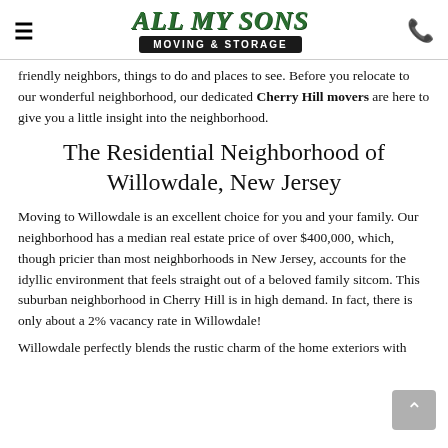All My Sons Moving & Storage
friendly neighbors, things to do and places to see. Before you relocate to our wonderful neighborhood, our dedicated Cherry Hill movers are here to give you a little insight into the neighborhood.
The Residential Neighborhood of Willowdale, New Jersey
Moving to Willowdale is an excellent choice for you and your family. Our neighborhood has a median real estate price of over $400,000, which, though pricier than most neighborhoods in New Jersey, accounts for the idyllic environment that feels straight out of a beloved family sitcom. This suburban neighborhood in Cherry Hill is in high demand. In fact, there is only about a 2% vacancy rate in Willowdale!
Willowdale perfectly blends the rustic charm of the home exteriors with